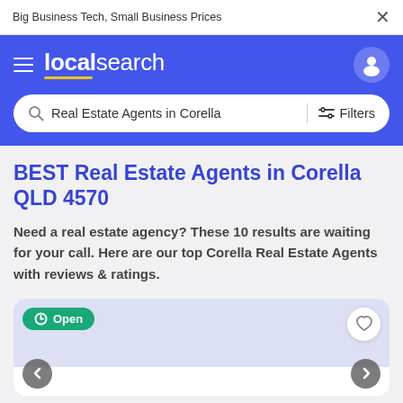Big Business Tech, Small Business Prices
[Figure (screenshot): localsearch website navigation bar with hamburger menu, logo, user icon, and search bar showing 'Real Estate Agents in Corella' with Filters button]
BEST Real Estate Agents in Corella QLD 4570
Need a real estate agency? These 10 results are waiting for your call. Here are our top Corella Real Estate Agents with reviews & ratings.
[Figure (screenshot): Business listing card showing Open badge in teal and a heart/favourite button, with left and right navigation arrows at the bottom]